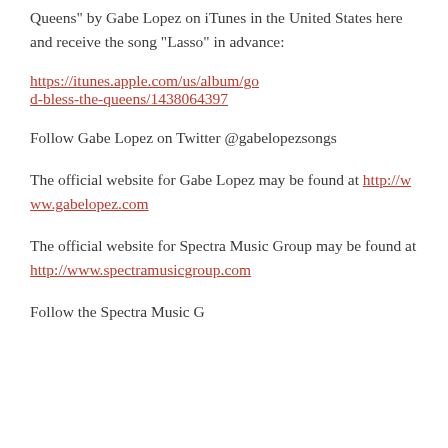Queens" by Gabe Lopez on iTunes in the United States here and receive the song "Lasso" in advance:
https://itunes.apple.com/us/album/god-bless-the-queens/1438064397
Follow Gabe Lopez on Twitter @gabelopezsongs
The official website for Gabe Lopez may be found at http://www.gabelopez.com
The official website for Spectra Music Group may be found at http://www.spectramusicgroup.com
Follow the Spectra Music G...